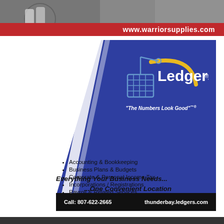[Figure (other): Warrior Supplies advertisement banner with product bottles photo and red bar showing www.warriorsupplies.com]
[Figure (other): Ledgers accounting franchise advertisement with blue diagonal design, logo, tagline 'The Numbers Look Good', bullet list of services, contact info]
Accounting & Bookkeeping
Business Plans & Budgets
Corporate & Personal Income Tax
Incorporations / Registrations
Payroll & Related Services
Everything Your Business Needs... ...One Convenient Location
Call: 807-622-2665    thunderbay.ledgers.com